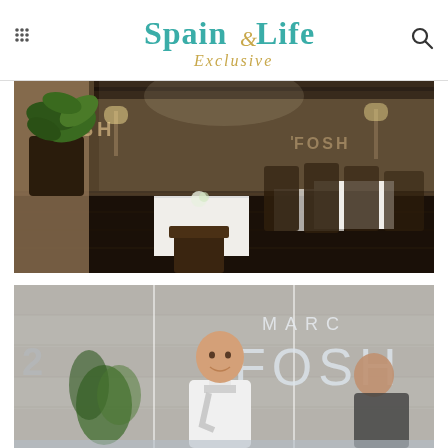Spain & Life Exclusive
[Figure (photo): Interior of FOSH restaurant in Mallorca showing elegant dining tables with white linen, dark wooden chairs, large tropical plant in dark planter, and glass walls. The restaurant logo 'FOSH' is visible on the glass.]
[Figure (photo): Exterior or entrance view of Marc Fosh restaurant showing the glass facade with 'MARC FOSH' lettering visible, a smiling bald chef in white uniform in the foreground, stone wall background.]